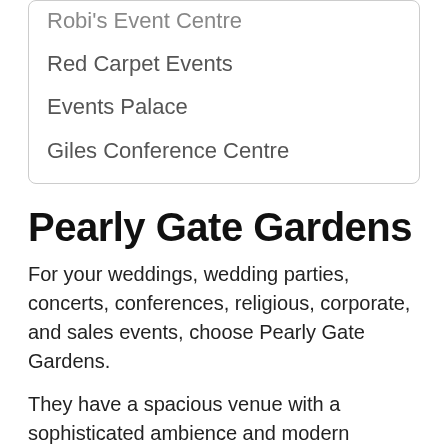Robi's Event Centre
Red Carpet Events
Events Palace
Giles Conference Centre
Pearly Gate Gardens
For your weddings, wedding parties, concerts, conferences, religious, corporate, and sales events, choose Pearly Gate Gardens.
They have a spacious venue with a sophisticated ambience and modern architecture. Even the entrance and exterior design of Pearly Gate Gardens is beautiful.